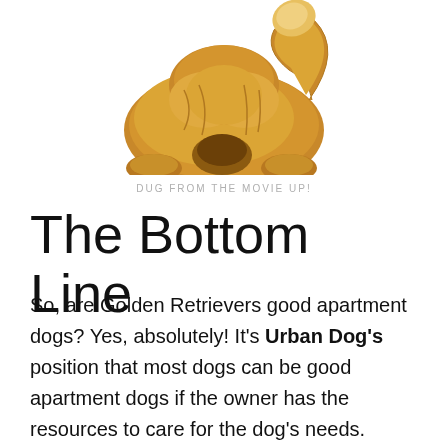[Figure (illustration): Illustrated golden/tan fluffy dog (Dug from the movie Up!) shown from behind/above, sitting, with a curled tail and visible paws]
DUG FROM THE MOVIE UP!
The Bottom Line
So, are Golden Retrievers good apartment dogs? Yes, absolutely! It's Urban Dog's position that most dogs can be good apartment dogs if the owner has the resources to care for the dog's needs. Golden Retrievers, like most large hunting dogs, need mental stimulation and exercise. They also thrive when in their owner's company. If you can't fill those needs you might want to consider